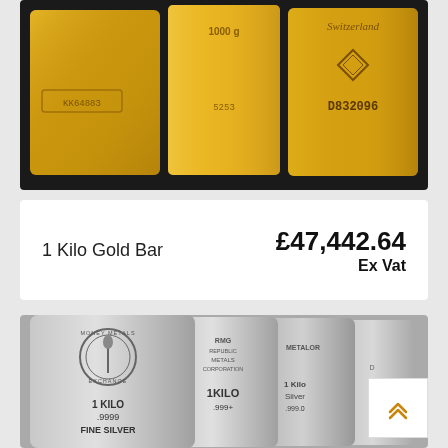[Figure (photo): Three gold bars side by side, showing serial numbers KK64883, 5253 with 1000g marking, and D832096 with Switzerland branding]
1 Kilo Gold Bar
£47,442.64
Ex Vat
[Figure (photo): Multiple 1 kilo silver bars fanned out, including Money Metals Exchange bar marked 1 KILO .9999 FINE SILVER, Republic Metals 1 KILO .999+, Metalor 1 Kilo Silver .999.0, and another bar]